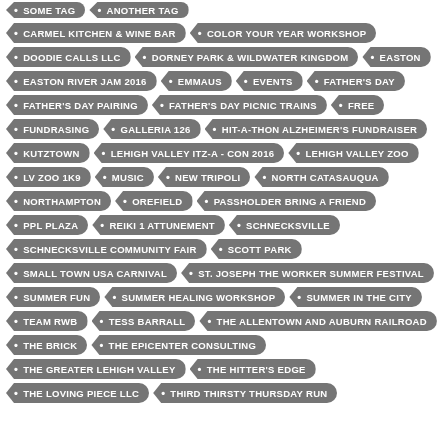CARMEL KITCHEN & WINE BAR
COLOR YOUR YEAR WORKSHOP
DOODIE CALLS LLC
DORNEY PARK & WILDWATER KINGDOM
EASTON
EASTON RIVER JAM 2016
EMMAUS
EVENTS
FATHER'S DAY
FATHER'S DAY PAIRING
FATHER'S DAY PICNIC TRAINS
FREE
FUNDRASING
GALLERIA 126
HIT-A-THON ALZHEIMER'S FUNDRAISER
KUTZTOWN
LEHIGH VALLEY ITZ-A - CON 2016
LEHIGH VALLEY ZOO
LV ZOO 1K9
MUSIC
NEW TRIPOLI
NORTH CATASAUQUA
NORTHAMPTON
OREFIELD
PASSHOLDER BRING A FRIEND
PPL PLAZA
REIKI 1 ATTUNEMENT
SCHNECKSVILLE
SCHNECKSVILLE COMMUNITY FAIR
SCOTT PARK
SMALL TOWN USA CARNIVAL
ST. JOSEPH THE WORKER SUMMER FESTIVAL
SUMMER FUN
SUMMER HEALING WORKSHOP
SUMMER IN THE CITY
TEAM RWB
TESS BARRALL
THE ALLENTOWN AND AUBURN RAILROAD
THE BRICK
THE EPICENTER CONSULTING
THE GREATER LEHIGH VALLEY
THE HITTER'S EDGE
THE LOVING PIECE LLC
THIRD THIRSTY THURSDAY RUN